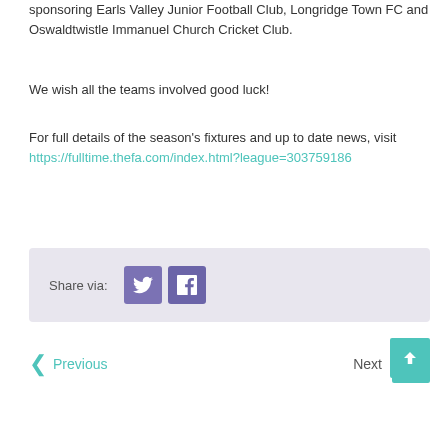sponsoring Earls Valley Junior Football Club, Longridge Town FC and Oswaldtwistle Immanuel Church Cricket Club.
We wish all the teams involved good luck!
For full details of the season's fixtures and up to date news, visit https://fulltime.thefa.com/index.html?league=303759186
Share via: [Twitter] [Facebook]
Previous   Next